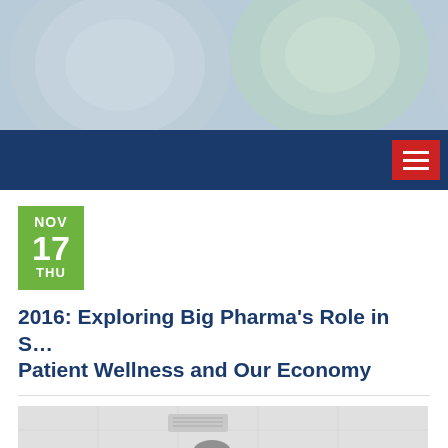[Figure (photo): Header banner image showing pharmaceutical items with blue and green tones]
Navigation bar with hamburger menu
NOV 17 THU
2016: Exploring Big Pharma’s Role in S… Patient Wellness and Our Economy
[Figure (photo): Photo of a speaker presenting at a conference podium in a meeting room with windows]